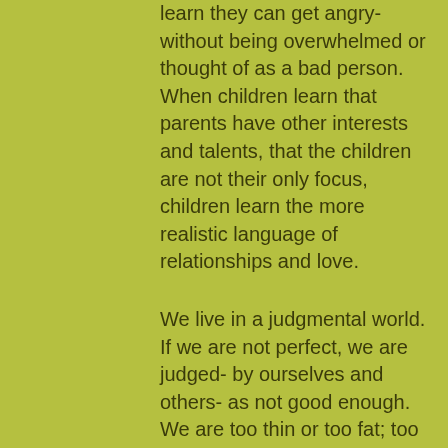learn they can get angry- without being overwhelmed or thought of as a bad person. When children learn that parents have other interests and talents, that the children are not their only focus, children learn the more realistic language of relationships and love.
We live in a judgmental world. If we are not perfect, we are judged- by ourselves and others- as not good enough. We are too thin or too fat; too stupid or too smart for our own good; too lazy or too hyper-active- the list could continue. It is time we let go of the judgement and accept who we are. If it is change we seek, recognize the choices you must make and the consequences of those choices. Be the best you can be; in some